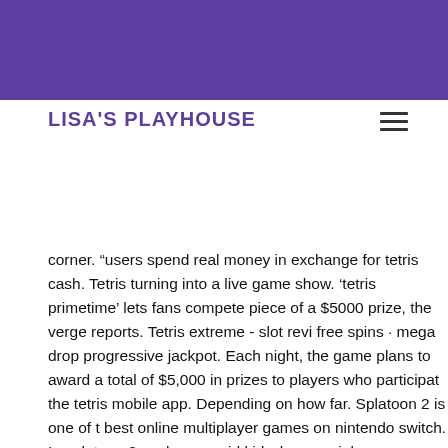LISA'S PLAYHOUSE
corner. “users spend real money in exchange for tetris cash. Tetris turning into a live game show. 'tetris primetime' lets fans compete piece of a $5000 prize, the verge reports. Tetris extreme - slot review free spins · mega drop progressive jackpot. Each night, the game plans to award a total of $5,000 in prizes to players who participate the tetris mobile app. Depending on how far. Splatoon 2 is one of t best online multiplayer games on nintendo switch. In splatoon 2, y play a squid kid who uses ink as ammo. Tetris battle is a multiplay game it uses ko system. The game is free to play but sometimes i the time where a player has to spend real money to. Each night, th game show plans to award a total of $5,000 in prizes to players wh participate on the tetris mobile app Play thousands of free online games: arcade games, puzzle games, funny games, sports games shooting games, and more. New free games every day at. Play te your share of a $5000 nightly prize pool. The tetris® 99 digital gam includes an online mode that is a special offer for nintendo switch members*. In large-scale, 99-player battles. Is the tetris effect rea